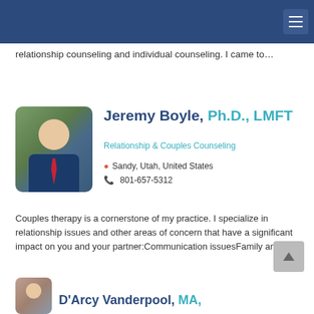relationship counseling and individual counseling. I came to…
Jeremy Boyle, Ph.D., LMFT
Relationship & Couples Counseling
Sandy, Utah, United States
801-657-5312
Couples therapy is a cornerstone of my practice. I specialize in relationship issues and other areas of concern that have a significant impact on you and your partner:Communication issuesFamily and…
D'Arcy Vanderpool, MA,